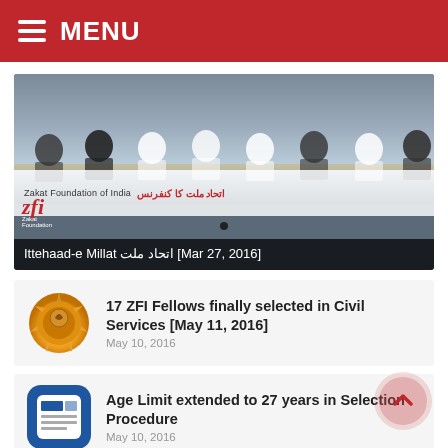MENU
[Figure (photo): Conference photo showing people seated at a long table with Zakat Foundation of India banner. Caption reads: Ittehaad-e Millat اتحاد ملت [Mar 27, 2016]]
Ittehaad-e Millat اتحاد ملت [Mar 27, 2016]
[Figure (photo): Thumbnail of gold/orange circular emblem for civil services article]
17 ZFI Fellows finally selected in Civil Services [May 11, 2016]
May 10, 2016
[Figure (photo): Blue news icon thumbnail]
Age Limit extended to 27 years in Selection Procedure
May 10, 2016
We are happy that our developed new IOS & Android App is ready